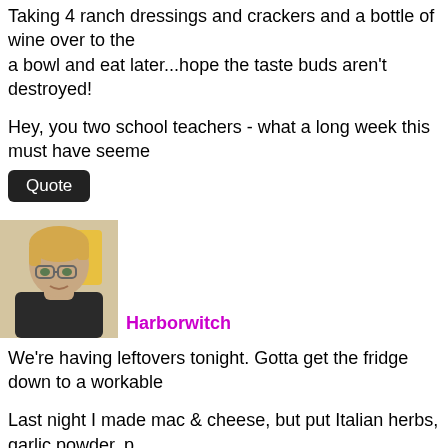Taking 4 ranch dressings and crackers and a bottle of wine over to the a bowl and eat later...hope the taste buds aren't destroyed!
Hey, you two school teachers - what a long week this must have seeme
Quote
[Figure (photo): Profile photo of a middle-aged woman with short blonde hair and glasses, wearing a dark top, photographed outdoors]
Harborwitch
We're having leftovers tonight. Gotta get the fridge down to a workable
Last night I made mac & cheese, but put Italian herbs, garlic powder, p that left and some Mexican rice & beans, and a green salad.
Quote
pjcooks
Porcini rubbed grilled ribeye, frites and a summer squash -zucchini sau